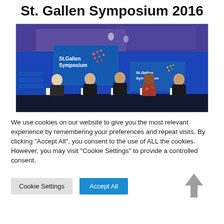St. Gallen Symposium 2016
[Figure (photo): Panel discussion at St. Gallen Symposium 2016. Five panelists seated on stage in front of blue backdrops displaying the St. Gallen Symposium logo. The stage is lit with purple/blue lighting.]
We use cookies on our website to give you the most relevant experience by remembering your preferences and repeat visits. By clicking "Accept All", you consent to the use of ALL the cookies. However, you may visit "Cookie Settings" to provide a controlled consent.